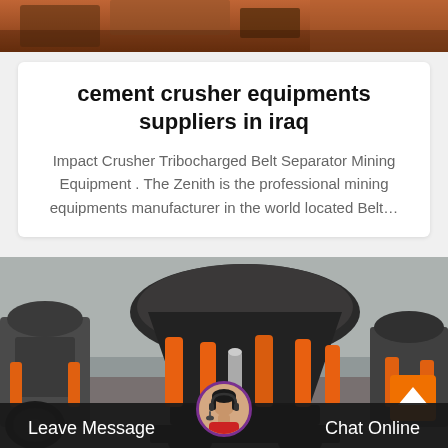[Figure (photo): Top portion of a mining/construction site with machinery and equipment, partial view]
cement crusher equipments suppliers in iraq
Impact Crusher Tribocharged Belt Separator Mining Equipment . The Zenith is the professional mining equipments manufacturer in the world located Belt…
[Figure (photo): Large industrial cone crusher machine with orange hydraulic cylinders in a factory/warehouse setting]
Leave Message
Chat Online